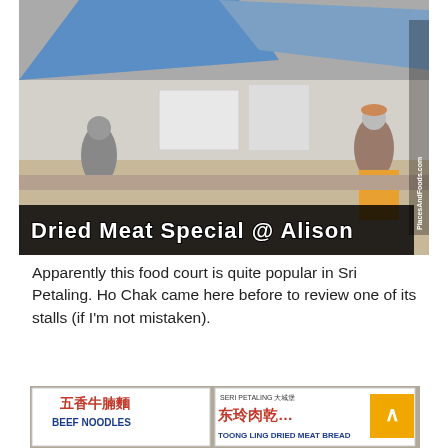[Figure (photo): Photo of a food court with vendors and stalls under blue tarps. Text overlay at bottom reads 'Dried Meat Special @ Alison' in white block letters with black outline. PlacesAndFoods.com watermark on right side.]
Apparently this food court is quite popular in Sri Petaling. Ho Chak came here before to review one of its stalls (if I'm not mistaken).
[Figure (photo): Photo of a food stall showing signage for '五香牛腩麵 BEEF NOODLES' and 'SERI PETALING 大城堡 东玲肉乾面 TOONG LING DRIED MEAT BREAD'. Display cases with bread/bao items visible. Menu board showing sandwich set options. Scroll-to-top button (yellow/orange) visible bottom right.]